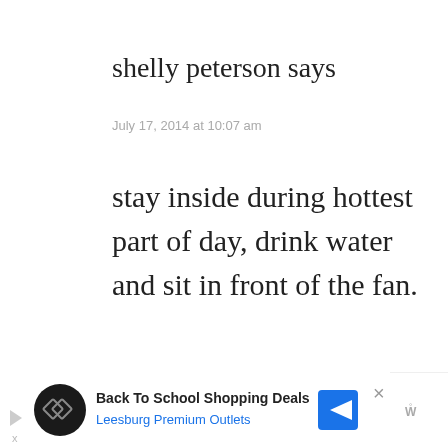shelly peterson says
July 17, 2014 at 10:07 am
stay inside during hottest part of day, drink water and sit in front of the fan.
HS says
[Figure (screenshot): Advertisement banner for Back To School Shopping Deals at Leesburg Premium Outlets with play button, close button, and navigation arrow icons]